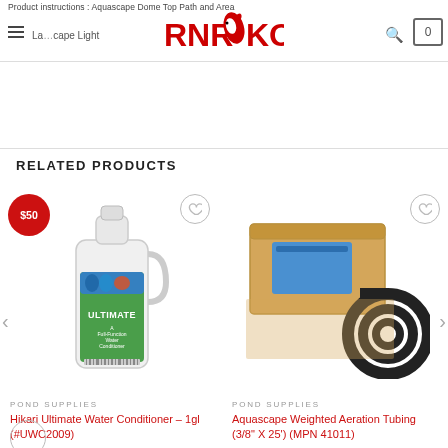Product instructions: Aquascape Dome Top Path and Area Landscape Light | RNR KOI
RELATED PRODUCTS
[Figure (photo): Gallon jug of Hikari Ultimate Water Conditioner product, white bottle with colorful label showing fish and ULTIMATE branding. Red price badge showing $50 in upper left. Heart wishlist icon upper right.]
POND SUPPLIES
Hikari Ultimate Water Conditioner – 1gl (#UWC2009)
[Figure (photo): Aquascape product box (cardboard brown box with blue label) and coiled black aeration tubing beside it. Heart wishlist icon upper right.]
POND SUPPLIES
Aquascape Weighted Aeration Tubing (3/8" X 25') (MPN 41011)